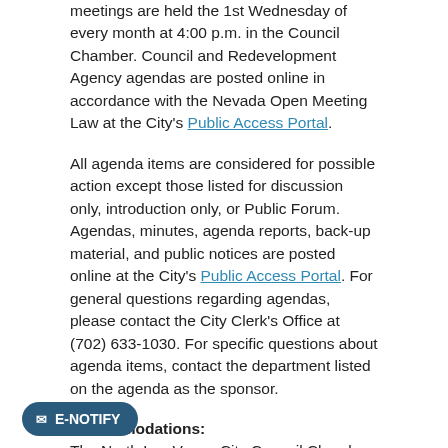meetings are held the 1st Wednesday of every month at 4:00 p.m. in the Council Chamber. Council and Redevelopment Agency agendas are posted online in accordance with the Nevada Open Meeting Law at the City's Public Access Portal.
All agenda items are considered for possible action except those listed for discussion only, introduction only, or Public Forum. Agendas, minutes, agenda reports, back-up material, and public notices are posted online at the City's Public Access Portal. For general questions regarding agendas, please contact the City Clerk's Office at (702) 633-1030. For specific questions about agenda items, contact the department listed on the agenda as the sponsor.
Accommodations:
The North Las Vegas City Council Chamber is accessible to all persons. For reasonable accommodations to those with disability impairments, please contact the ADA Coordinator at (702) 633-1501 or TDD (800) 326-6868 at least seventy-two (72)